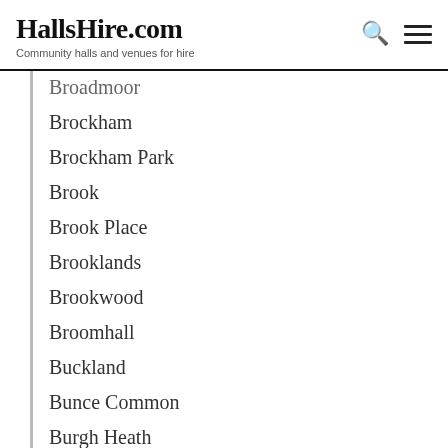HallsHire.com — Community halls and venues for hire
Broadmoor
Brockham
Brockham Park
Brook
Brook Place
Brooklands
Brookwood
Broomhall
Buckland
Bunce Common
Burgh Heath
Burntcommon
Burpham
Burrowhill
Burrows Cross
Burwood Park